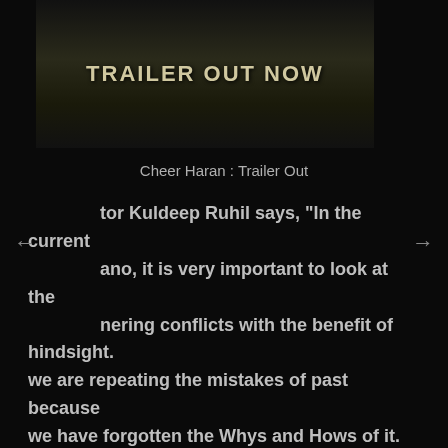[Figure (photo): Dark thumbnail image of a movie/documentary trailer with text 'TRAILER OUT NOW' overlaid in the center]
Cheer Haran : Trailer Out
tor Kuldeep Ruhil says, "In the current ano, it is very important to look at the nering conflicts with the benefit of hindsight. we are repeating the mistakes of past because we have forgotten the Whys and Hows of it. The trailer captures the impartial spirit of the documentary which in turn tries to recreate the Jat Reservation Andolan and Riots through the voices of people involved. We hope our effort contributes in inspiring viewers to seek truth and